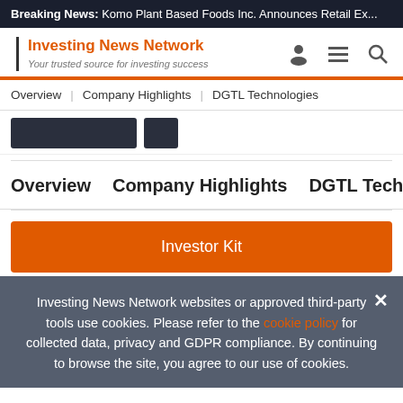Breaking News: Komo Plant Based Foods Inc. Announces Retail Ex...
[Figure (logo): Investing News Network logo with tagline 'Your trusted source for investing success' and navigation icons]
Overview | Company Highlights | DGTL Technologies
Overview   Company Highlights   DGTL Technologie
Investor Kit
Investing News Network websites or approved third-party tools use cookies. Please refer to the cookie policy for collected data, privacy and GDPR compliance. By continuing to browse the site, you agree to our use of cookies.